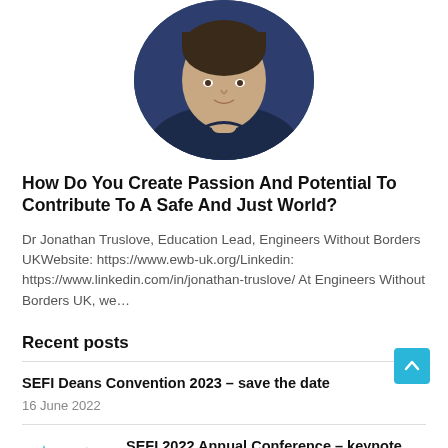[Figure (photo): Circular cropped portrait photo of a person wearing a dark navy shirt, upper body visible, partial view (cut off at top).]
How Do You Create Passion And Potential To Contribute To A Safe And Just World?
Dr Jonathan Truslove, Education Lead, Engineers Without Borders UKWebsite: https://www.ewb-uk.org/Linkedin: https://www.linkedin.com/in/jonathan-truslove/ At Engineers Without Borders UK, we…
Recent posts
SEFI Deans Convention 2023 – save the date
16 June 2022
[Figure (illustration): Small thumbnail illustration of a cathedral/church building in blue line art style.]
SEFI 2022 Annual Conference – keynote speakers and preliminary programme